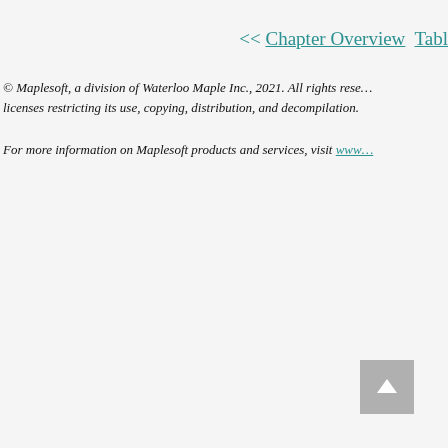<< Chapter Overview  Tabl
© Maplesoft, a division of Waterloo Maple Inc., 2021. All rights rese… licenses restricting its use, copying, distribution, and decompilation.
For more information on Maplesoft products and services, visit www…